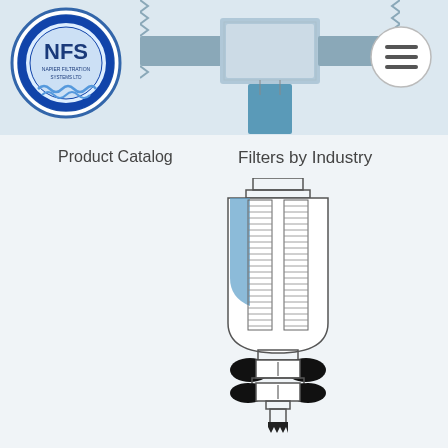[Figure (screenshot): NFS company logo circle with blue text and water wave motif]
[Figure (engineering-diagram): Navigation bar header with pipe fitting schematic diagram in light blue/grey tones]
[Figure (other): Hamburger menu button circle icon]
Product Catalog
Filters by Industry
[Figure (engineering-diagram): Industrial filter housing with mesh filter element, drain valve, and bottom connection — line drawing with blue fill on filter media, black valve body]